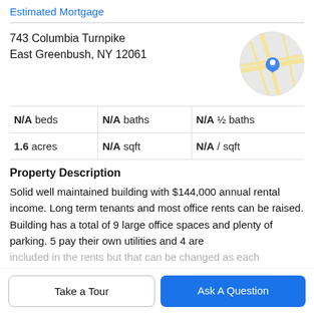Estimated Mortgage
743 Columbia Turnpike
East Greenbush, NY 12061
[Figure (map): Circular map thumbnail showing road intersections with a blue location pin marker]
| N/A beds | N/A baths | N/A ½ baths |
| 1.6 acres | N/A sqft | N/A / sqft |
Property Description
Solid well maintained building with $144,000 annual rental income. Long term tenants and most office rents can be raised. Building has a total of 9 large office spaces and plenty of parking. 5 pay their own utilities and 4 are
included in the rents but that can be changed as each
Take a Tour
Ask A Question